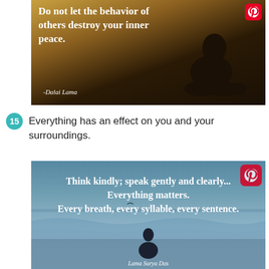[Figure (photo): Dark inspirational quote image with silhouette of person sitting cross-legged, warm sunset background. Quote reads: 'Do not let the behavior of others destroy your inner peace. -Dalai Lama'. Pinterest logo in top right corner.]
15  Everything has an effect on you and your surroundings.
[Figure (photo): Inspirational quote image over ocean/water background with person silhouette at bottom center. Quote reads: 'Think kindly; speak gently and clearly... Everything matters. Every breath, every syllable, every sentence.' Attribution: Lama Surya Das. Pinterest logo in top right corner.]